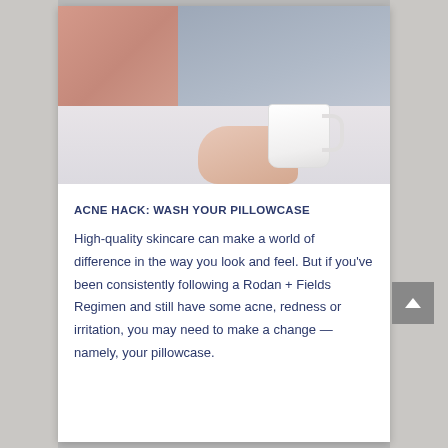[Figure (photo): A person lying in bed holding a white coffee mug, with pink and gray pillows in the background on white bedding.]
ACNE HACK: WASH YOUR PILLOWCASE
High-quality skincare can make a world of difference in the way you look and feel. But if you've been consistently following a Rodan + Fields Regimen and still have some acne, redness or irritation, you may need to make a change — namely, your pillowcase.